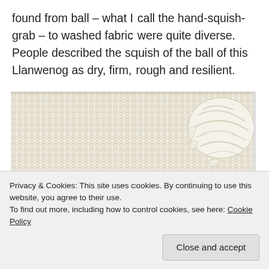found from ball – what I call the hand-squish-grab – to washed fabric were quite diverse. People described the squish of the ball of this Llanwenog as dry, firm, rough and resilient.
[Figure (photo): Close-up photograph of cream/white knitted fabric texture with a ball of wool yarn visible in the upper right corner]
Privacy & Cookies: This site uses cookies. By continuing to use this website, you agree to their use.
To find out more, including how to control cookies, see here: Cookie Policy